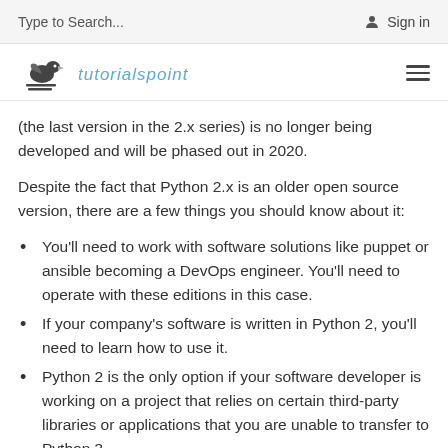Type to Search...   Sign in
[Figure (logo): Tutorialspoint bird logo with stylized text]
(the last version in the 2.x series) is no longer being developed and will be phased out in 2020.
Despite the fact that Python 2.x is an older open source version, there are a few things you should know about it:
You'll need to work with software solutions like puppet or ansible becoming a DevOps engineer. You'll need to operate with these editions in this case.
If your company's software is written in Python 2, you'll need to learn how to use it.
Python 2 is the only option if your software developer is working on a project that relies on certain third-party libraries or applications that you are unable to transfer to Python 3.